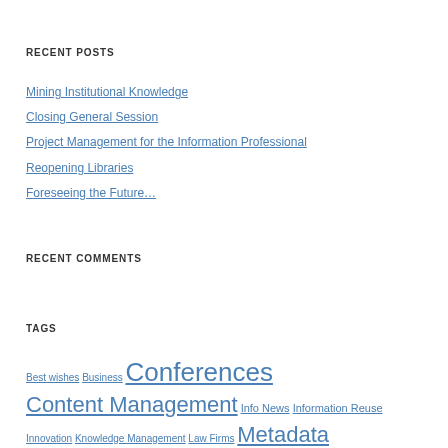RECENT POSTS
Mining Institutional Knowledge
Closing General Session
Project Management for the Information Professional
Reopening Libraries
Foreseeing the Future…
RECENT COMMENTS
TAGS
Best wishes Business Conferences Content Management Info News Information Reuse Innovation Knowledge Management Law Firms Metadata SLA Annual 2020